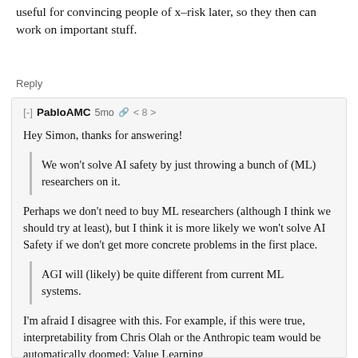...because this strategy is useful for convincing people of x-risk later, so they then can work on important stuff.
Reply
[-] PabloAMC 5mo 🔗 < 8 >
Hey Simon, thanks for answering!
We won't solve AI safety by just throwing a bunch of (ML) researchers on it.
Perhaps we don't need to buy ML researchers (although I think we should try at least), but I think it is more likely we won't solve AI Safety if we don't get more concrete problems in the first place.
AGI will (likely) be quite different from current ML systems.
I'm afraid I disagree with this. For example, if this were true, interpretability from Chris Olah or the Anthropic team would be automatically doomed; Value Learning...